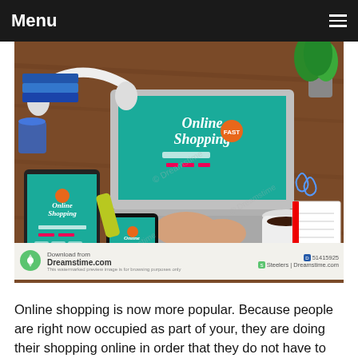Menu
[Figure (photo): Overhead view of a person typing on a laptop showing an Online Shopping website, surrounded by headphones, a tablet and phone also showing Online Shopping apps, a coffee cup, notebook, plant, and stationery on a wooden desk. Stock photo from Dreamstime.com with watermark and download info.]
Download from Dreamstime.com  51415925  Steelers | Dreamstime.com
Online shopping is now more popular. Because people are right now occupied as part of your, they are doing their shopping online in order that they do not have to drive or stroll to the shop. Store at home now, and save time, they are just...